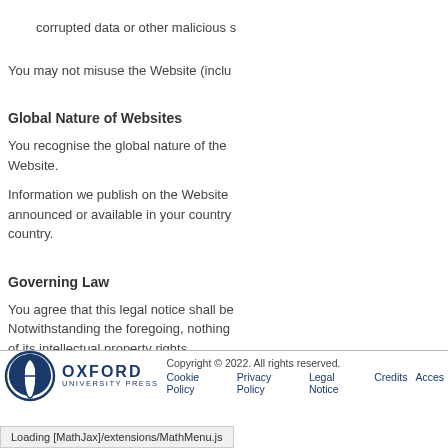corrupted data or other malicious s
You may not misuse the Website (inclu
Global Nature of Websites
You recognise the global nature of the Website.
Information we publish on the Website announced or available in your country. country.
Governing Law
You agree that this legal notice shall be Notwithstanding the foregoing, nothing of its intellectual property rights.
Copyright © 2022. All rights reserved. Cookie Policy  Privacy Policy  Legal Notice  Credits  Access